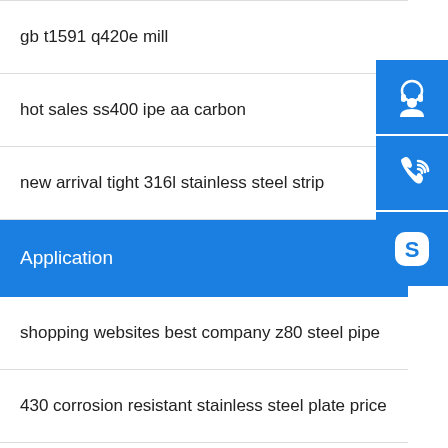gb t1591 q420e mill
hot sales ss400 ipe aa carbon
new arrival tight 316l stainless steel strip
Application
shopping websites best company z80 steel pipe
430 corrosion resistant stainless steel plate price
astm 307 stainless steel sheet
s355j2 steel plate for building decoration manufacture
iso certificate factory stainless steel 430 s...